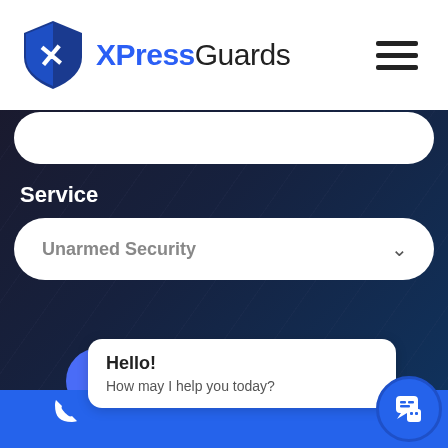[Figure (logo): XPressGuards logo: blue shield with X icon and the text XPressGuards]
[Figure (infographic): Hamburger menu icon (three horizontal lines)]
[Figure (screenshot): Dark section with white pill input field at top]
Service
Unarmed Security
Send now
Hello!
How may I help you today?